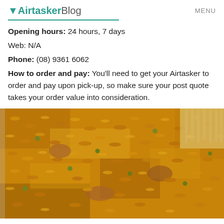Airtasker Blog   MENU
Opening hours: 24 hours, 7 days
Web: N/A
Phone: (08) 9361 6062
How to order and pay: You'll need to get your Airtasker to order and pay upon pick-up, so make sure your post quote takes your order value into consideration.
[Figure (photo): Close-up photo of yellow/golden fried rice with vegetables and meat in a foil container, with a plastic fork visible on the right side]